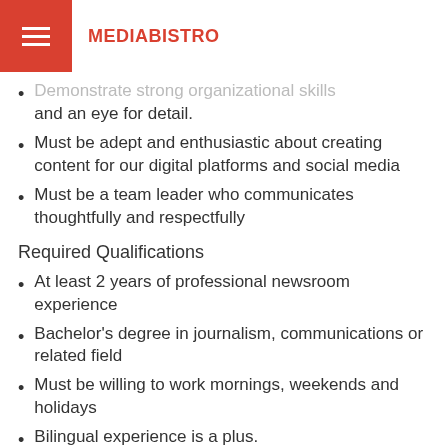MEDIABISTRO
Demonstrate strong organizational skills and an eye for detail.
Must be adept and enthusiastic about creating content for our digital platforms and social media
Must be a team leader who communicates thoughtfully and respectfully
Required Qualifications
At least 2 years of professional newsroom experience
Bachelor's degree in journalism, communications or related field
Must be willing to work mornings, weekends and holidays
Bilingual experience is a plus.
Military DINFOS experience will be considered.
Additional Requirements